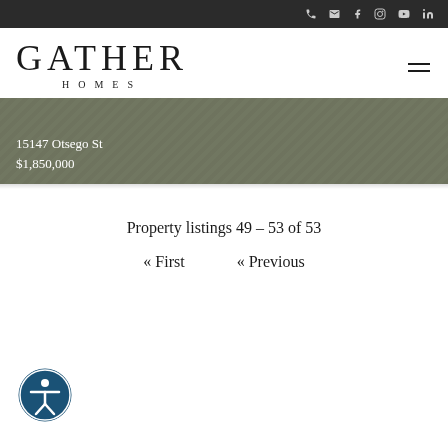Gather Homes — navigation header with social icons
15147 Otsego St
$1,850,000
Property listings 49 – 53 of 53
« First  « Previous
[Figure (logo): Accessibility icon — circular badge with person symbol]